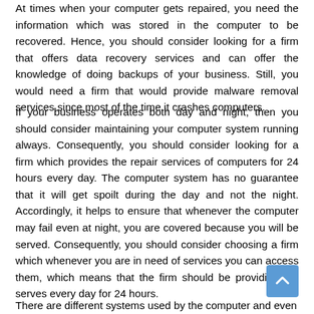At times when your computer gets repaired, you need the information which was stored in the computer to be recovered. Hence, you should consider looking for a firm that offers data recovery services and can offer the knowledge of doing backups of your business. Still, you would need a firm that would provide malware removal services since most of the time it crashes computers.
If your business operates both day and night, then you should consider maintaining your computer system running always. Consequently, you should consider looking for a firm which provides the repair services of computers for 24 hours every day. The computer system has no guarantee that it will get spoilt during the day and not the night. Accordingly, it helps to ensure that whenever the computer may fail even at night, you are covered because you will be served. Consequently, you should consider choosing a firm which whenever you are in need of services you can access them, which means that the firm should be providing the serves every day for 24 hours.
There are different systems used by the computer and even